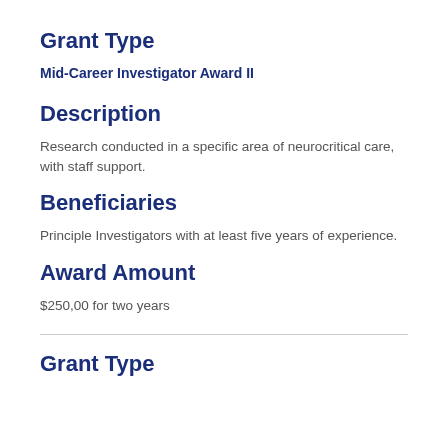Grant Type
Mid-Career Investigator Award II
Description
Research conducted in a specific area of neurocritical care, with staff support.
Beneficiaries
Principle Investigators with at least five years of experience.
Award Amount
$250,00 for two years
Grant Type